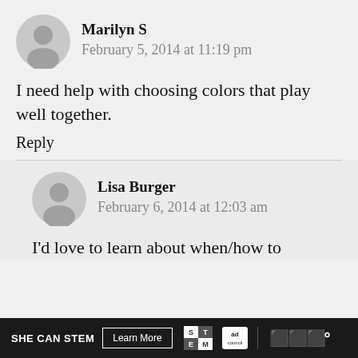Marilyn S
February 5, 2014 at 11:19 pm
I need help with choosing colors that play well together.
Reply
Lisa Burger
February 6, 2014 at 12:03 am
I'd love to learn about when/how to
SHE CAN STEM  Learn More